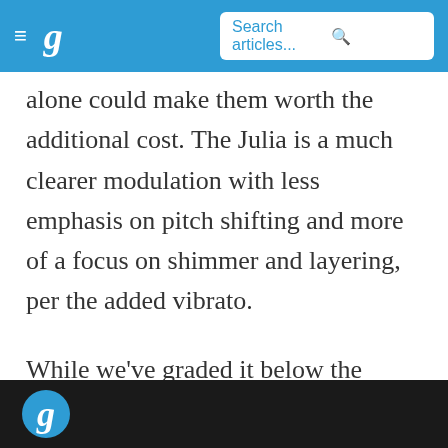g  Search articles...
alone could make them worth the additional cost. The Julia is a much clearer modulation with less emphasis on pitch shifting and more of a focus on shimmer and layering, per the added vibrato.
While we've graded it below the M234, an argument could be made for either of those pedals being higher than the other.
[Figure (screenshot): Dark bottom bar with a white stylized 'g' logo partially visible at the left]